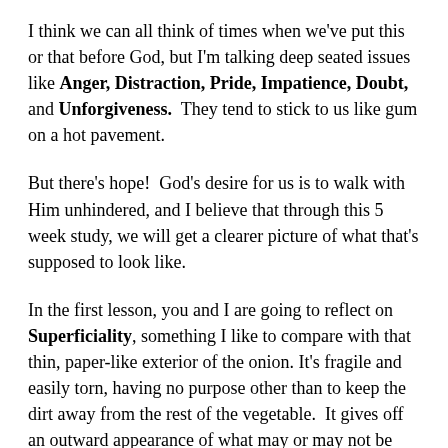I think we can all think of times when we've put this or that before God, but I'm talking deep seated issues like Anger, Distraction, Pride, Impatience, Doubt, and Unforgiveness. They tend to stick to us like gum on a hot pavement.
But there's hope! God's desire for us is to walk with Him unhindered, and I believe that through this 5 week study, we will get a clearer picture of what that's supposed to look like.
In the first lesson, you and I are going to reflect on Superficiality, something I like to compare with that thin, paper-like exterior of the onion. It's fragile and easily torn, having no purpose other than to keep the dirt away from the rest of the vegetable. It gives off an outward appearance of what may or may not be underneath, and often hides other deeper